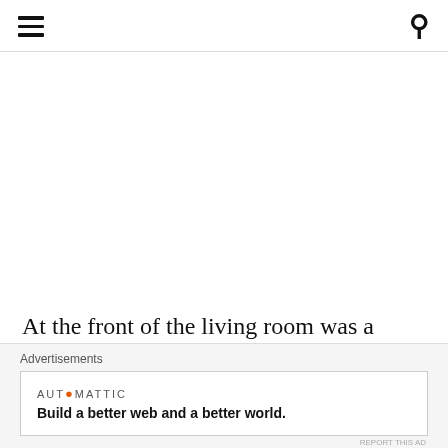[hamburger menu icon] [search icon]
At the front of the living room was a large flat screen television accompanied by a sound bar, great for enhanced sound effects while watching your favourite movies on television, or even your personal playlist off your mobile device via Bl...
Advertisements
[Figure (other): Advertisement box: AUTOMATTIC logo with orange dot, tagline 'Build a better web and a better world.']